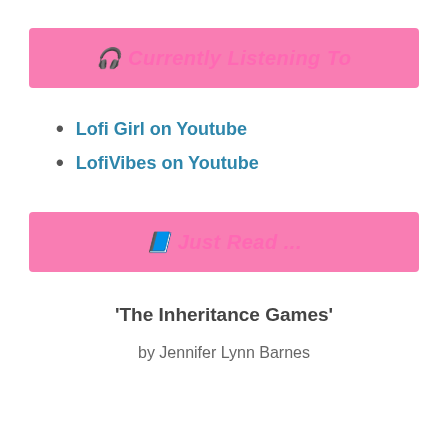🎧 Currently Listening To
Lofi Girl on Youtube
LofiVibes on Youtube
📘 Just Read ...
'The Inheritance Games'
by Jennifer Lynn Barnes